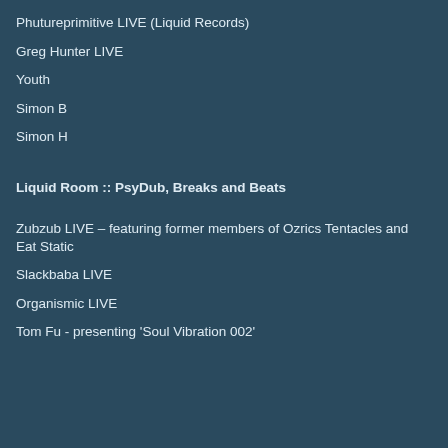Phutureprimitive LIVE (Liquid Records)
Greg Hunter LIVE
Youth
Simon B
Simon H
Liquid Room :: PsyDub, Breaks and Beats
Zubzub LIVE – featuring former members of Ozrics Tentacles and Eat Static
Slackbaba LIVE
Organismic LIVE
Tom Fu - presenting 'Soul Vibration 002'